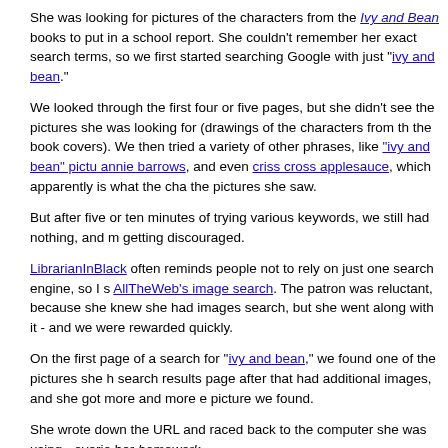She was looking for pictures of the characters from the Ivy and Bean books to put in a school report. She couldn't remember her exact search terms, so we first started searching Google with just "ivy and bean."
We looked through the first four or five pages, but she didn't see the pictures she was looking for (drawings of the characters from the book covers). We then tried a variety of other phrases, like "ivy and bean" pictures annie barrows, and even criss cross applesauce, which apparently is what the characters do in the pictures she saw.
But after five or ten minutes of trying various keywords, we still had nothing, and my patron was getting discouraged.
LibrarianInBlack often reminds people not to rely on just one search engine, so I suggested trying AllTheWeb's image search. The patron was reluctant, because she knew she had already done an images search, but she went along with it - and we were rewarded quickly.
On the first page of a search for "ivy and bean," we found one of the pictures she had seen. The search results page after that had additional images, and she got more and more excited about each picture we found.
She wrote down the URL and raced back to the computer she was using - overjoyed that she had found her homework.